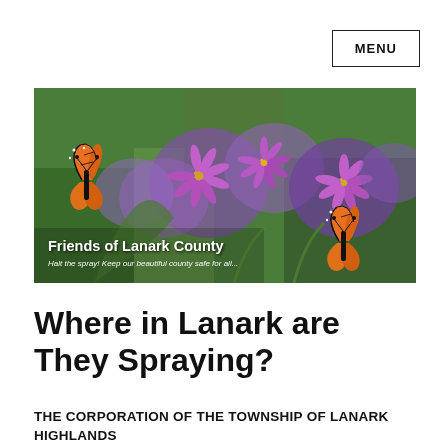MENU
[Figure (photo): Banner photo of monarch butterflies on purple aster wildflowers in Lanark County, with overlaid text reading 'Friends of Lanark County' and subtitle 'Halt the spray! Keep our beautiful county safe for all...']
Where in Lanark are They Spraying?
THE CORPORATION OF THE TOWNSHIP OF LANARK HIGHLANDS